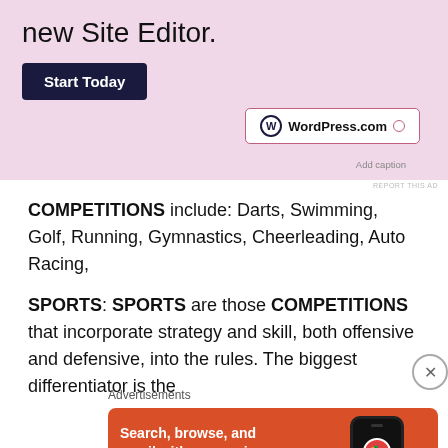[Figure (screenshot): WordPress.com advertisement with pink background showing 'new Site Editor.' heading, 'Start Today' dark button, and WordPress.com badge with 'Add caption' text below it]
REPORT THIS AD
COMPETITIONS include:  Darts, Swimming, Golf, Running, Gymnastics, Cheerleading, Auto Racing,
SPORTS:  SPORTS are those COMPETITIONS that incorporate strategy and skill, both offensive and defensive, into the rules.  The biggest differentiator is the
Advertisements
[Figure (screenshot): DuckDuckGo advertisement with orange background showing 'Search, browse, and email with more privacy.' text, 'All in One Free App' button, and phone mockup with DuckDuckGo logo]